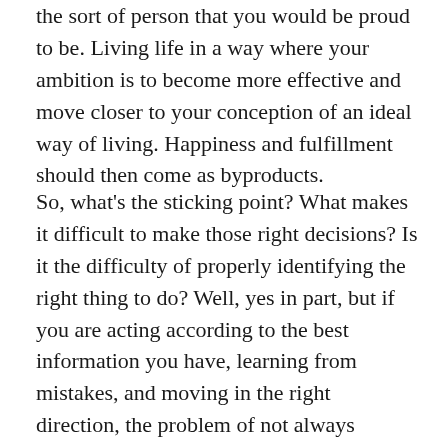the sort of person that you would be proud to be. Living life in a way where your ambition is to become more effective and move closer to your conception of an ideal way of living. Happiness and fulfillment should then come as byproducts.
So, what's the sticking point? What makes it difficult to make those right decisions? Is it the difficulty of properly identifying the right thing to do? Well, yes in part, but if you are acting according to the best information you have, learning from mistakes, and moving in the right direction, the problem of not always knowing the perfect decision is secondary. The bigger problem, in my view, is not being able to persuade yourself to do the right thing. That's